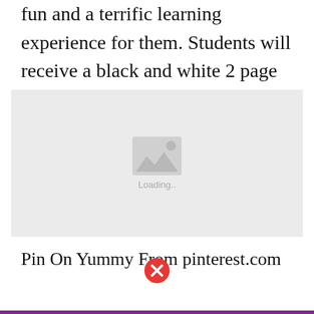fun and a terrific learning experience for them. Students will receive a black and white 2 page visual recipe directions.
[Figure (photo): Image placeholder with loading indicator showing a grey rectangle with a mountain/image icon and 'Loading..' text]
Pin On Yummy From pinterest.com